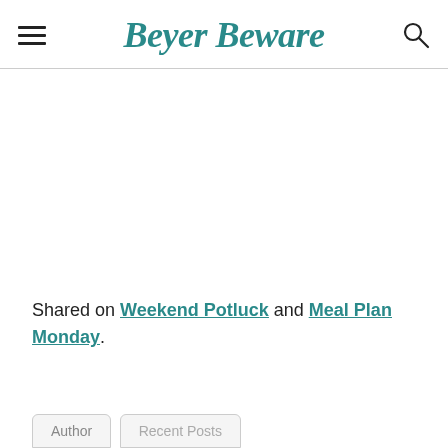Beyer Beware
Shared on Weekend Potluck and Meal Plan Monday.
Author	Recent Posts